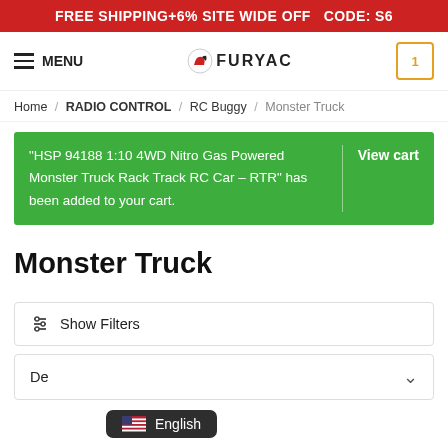FREE SHIPPING+6% SITE WIDE OFF  CODE: S6
[Figure (logo): FuryRC logo with dragon icon and FURYAC text]
Home / RADIO CONTROL / RC Buggy / Monster Truck
"HSP 94188 1:10 4WD Nitro Gas Powered Monster Truck Rack Track RC Car – RTR" has been added to your cart.  | View cart
Monster Truck
Show Filters
De...
English